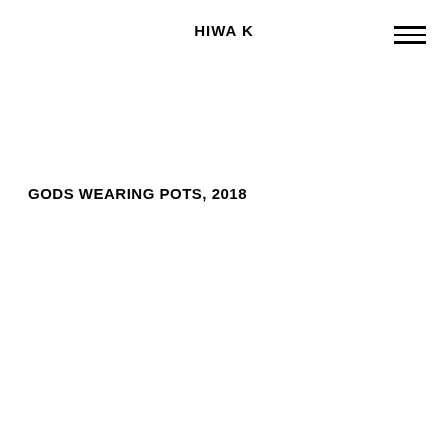HIWA K
GODS WEARING POTS, 2018